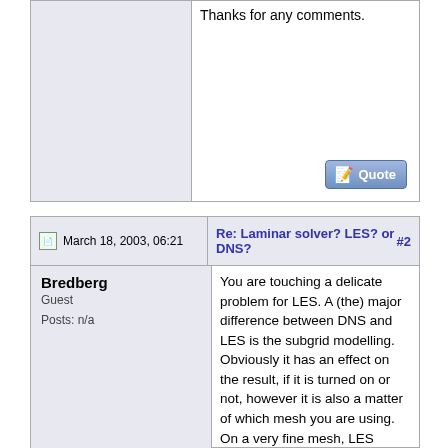Thanks for any comments.
March 18, 2003, 06:21
Re: Laminar solver? LES? or DNS? #2
Bredberg
Guest
Posts: n/a
You are touching a delicate problem for LES. A (the) major difference between DNS and LES is the subgrid modelling. Obviously it has an effect on the result, if it is turned on or not, however it is also a matter of which mesh you are using. On a very fine mesh, LES whithout subgrid modelling should be close to a DNS computation, hence it would be erronous to include the model. Any serious paper dealing with development of subgrid modelling should include the effect of the model, try e.g. Krajnovic.

And equally problematic area is the treatment of walls using LES